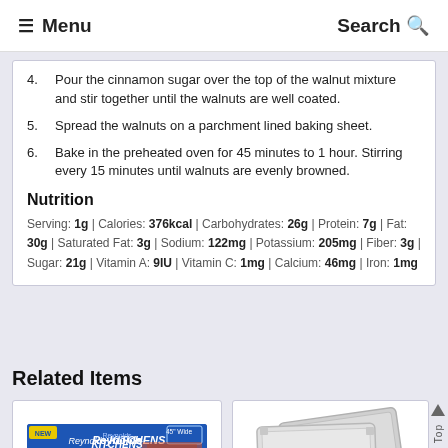≡ Menu  Search 🔍
4. Pour the cinnamon sugar over the top of the walnut mixture and stir together until the walnuts are well coated.
5. Spread the walnuts on a parchment lined baking sheet.
6. Bake in the preheated oven for 45 minutes to 1 hour. Stirring every 15 minutes until walnuts are evenly browned.
Nutrition
Serving: 1g | Calories: 376kcal | Carbohydrates: 26g | Protein: 7g | Fat: 30g | Saturated Fat: 3g | Sodium: 122mg | Potassium: 205mg | Fiber: 3g | Sugar: 21g | Vitamin A: 9IU | Vitamin C: 1mg | Calcium: 46mg | Iron: 1mg
Related Items
[Figure (photo): Reynolds Kitchens Parchment Paper 60 sq ft product box]
[Figure (photo): Two silver aluminum baking sheet pans stacked]